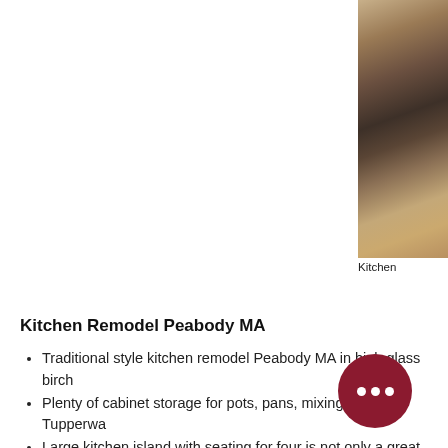[Figure (photo): Kitchen photo showing cabinetry and countertop area, partially visible at right edge of page]
Kitchen
Kitchen Remodel Peabody MA
Traditional style kitchen remodel Peabody MA in high glass birch
Plenty of cabinet storage for pots, pans, mixing bowls, Tupperwa…
Large kitchen island with seating for four is not only a great place…
Lots of countertop space to do kitchen prep work.
Drawer storage added to kitchen with organization… as a…
Backsplash tile the complimented the cabinetry wi… pie…
Under cabinet lighting with three hanging pendants … rece…